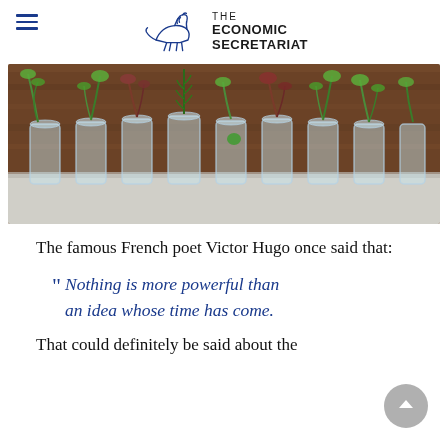THE ECONOMIC SECRETARIAT
[Figure (photo): A row of glass vials or test tubes each containing a small green plant/seedling with roots, arranged in a line on a light surface against a dark wooden background.]
The famous French poet Victor Hugo once said that:
“ Nothing is more powerful than an idea whose time has come.
That could definitely be said about the